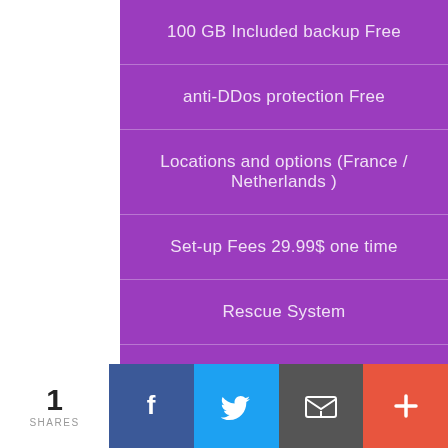100 GB Included backup Free
anti-DDos protection Free
Locations and options (France / Netherlands )
Set-up Fees 29.99$ one time
Rescue System
Remote reboot
ORDER NOW
1 SHARES
[Figure (infographic): Social share bar with Facebook, Twitter, Email, and plus buttons]